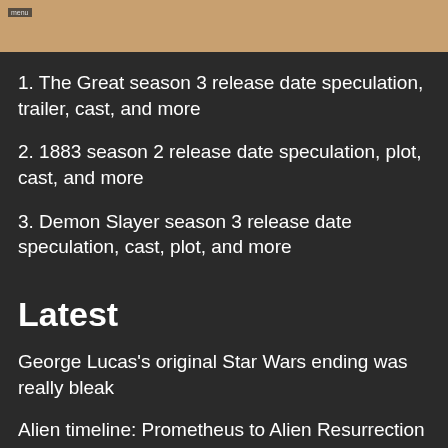[Figure (photo): Partial view of a person in costume or period clothing, cropped at top of page with a small label overlay reading 'menu']
1. The Great season 3 release date speculation, trailer, cast, and more
2. 1883 season 2 release date speculation, plot, cast, and more
3. Demon Slayer season 3 release date speculation, cast, plot, and more
Latest
George Lucas's original Star Wars ending was really bleak
Alien timeline: Prometheus to Alien Resurrection